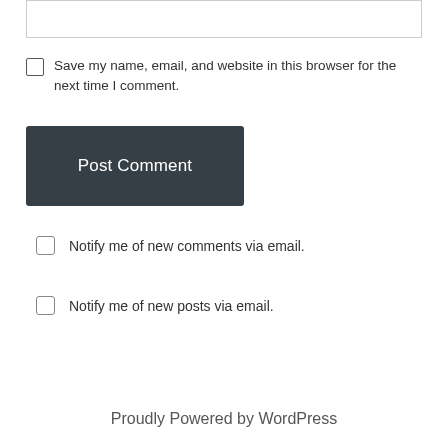[input box]
Save my name, email, and website in this browser for the next time I comment.
Post Comment
Notify me of new comments via email.
Notify me of new posts via email.
Proudly Powered by WordPress